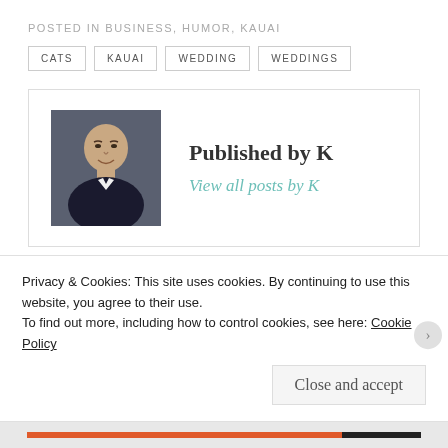POSTED IN BUSINESS, HUMOR, KAUAI
CATS
KAUAI
WEDDING
WEDDINGS
Published by K
View all posts by K
‹ PREVIOUS
Making Money Online...can a small fish survive?
NEXT ›
Girl Scout Brownie Update #2
Privacy & Cookies: This site uses cookies. By continuing to use this website, you agree to their use.
To find out more, including how to control cookies, see here: Cookie Policy
Close and accept